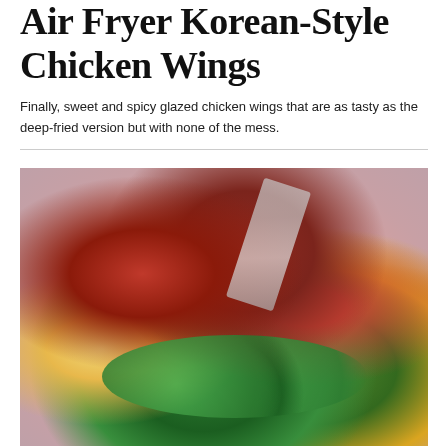Air Fryer Korean-Style Chicken Wings
Finally, sweet and spicy glazed chicken wings that are as tasty as the deep-fried version but with none of the mess.
[Figure (photo): Overhead photo of Korean-style glazed chicken wings on a pink plate with a fork, served alongside a fresh salad with cucumber slices, orange segments, greens, and lemon wedge.]